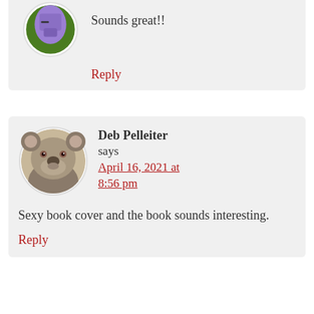[Figure (illustration): Partial view of a circular avatar with a purple/green robot/character icon, cropped at top]
Sounds great!!
Reply
[Figure (photo): Circular avatar photo of a koala bear looking at the camera]
Deb Pelleiter says
April 16, 2021 at 8:56 pm
Sexy book cover and the book sounds interesting.
Reply